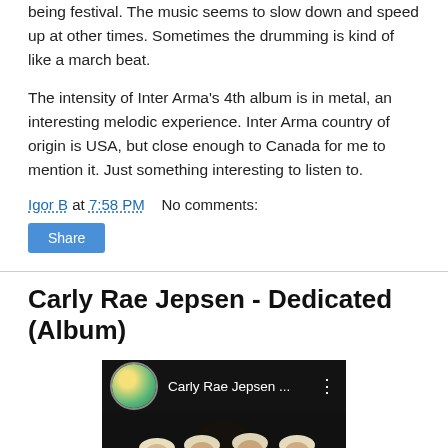being festival. The music seems to slow down and speed up at other times. Sometimes the drumming is kind of like a march beat.
The intensity of Inter Arma's 4th album is in metal, an interesting melodic experience. Inter Arma country of origin is USA, but close enough to Canada for me to mention it. Just something interesting to listen to.
Igor B at 7:58 PM    No comments:
Share
Carly Rae Jepsen - Dedicated (Album)
[Figure (screenshot): YouTube video thumbnail for Carly Rae Jepsen showing channel name 'Carly Rae Jepsen ...' with channel avatar, three blond women in white tops on dark background, and a play button overlay]